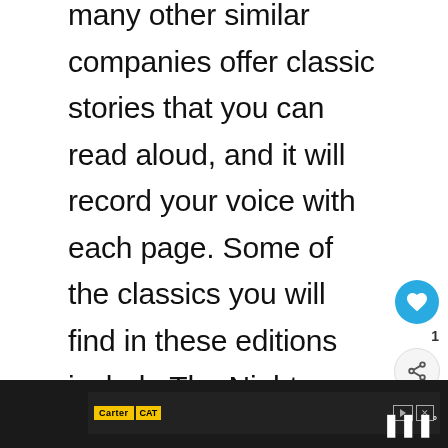many other similar companies offer classic stories that you can read aloud, and it will record your voice with each page. Some of the classics you will find in these editions include The Night Before Christmas, The Velveteen Rabbit, and many others. You can also pick your daughter's favorite storybook.